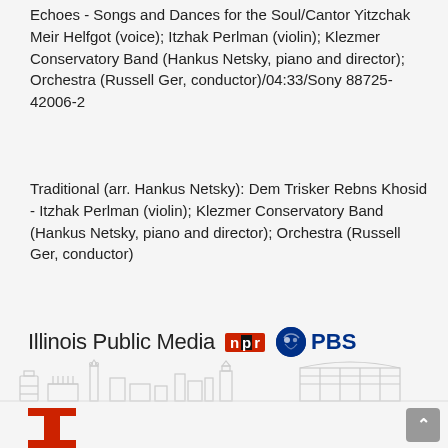Echoes - Songs and Dances for the Soul/Cantor Yitzchak Meir Helfgot (voice); Itzhak Perlman (violin); Klezmer Conservatory Band (Hankus Netsky, piano and director); Orchestra (Russell Ger, conductor)/04:33/Sony 88725-42006-2
Traditional (arr. Hankus Netsky): Dem Trisker Rebns Khosid - Itzhak Perlman (violin); Klezmer Conservatory Band (Hankus Netsky, piano and director); Orchestra (Russell Ger, conductor)
[Figure (logo): Illinois Public Media logo with NPR and PBS logos, followed by a city skyline illustration and a partial Illinois 'I' logo at the bottom left]